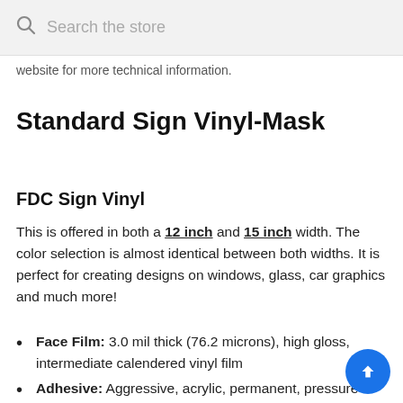Search the store
website for more technical information.
Standard Sign Vinyl-Mask
FDC Sign Vinyl
This is offered in both a 12 inch and 15 inch width. The color selection is almost identical between both widths. It is perfect for creating designs on windows, glass, car graphics and much more!
Face Film: 3.0 mil thick (76.2 microns), high gloss, intermediate calendered vinyl film
Adhesive: Aggressive, acrylic, permanent, pressure sensitive. Not to be used with solvent based